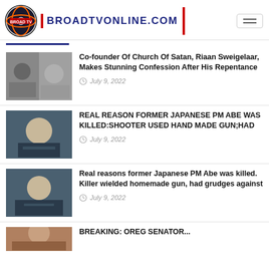BROADTVONLINE.COM
Co-founder Of Church Of Satan, Riaan Sweigelaar, Makes Stunning Confession After His Repentance
July 9, 2022
REAL REASON FORMER JAPANESE PM ABE WAS KILLED:SHOOTER USED HAND MADE GUN;HAD
July 9, 2022
Real reasons former Japanese PM Abe was killed. Killer wielded homemade gun, had grudges against
July 9, 2022
BREAKING: OREG Senator...